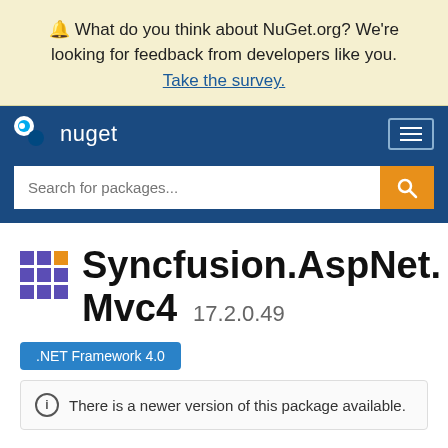🔔 What do you think about NuGet.org? We're looking for feedback from developers like you. Take the survey.
[Figure (logo): NuGet navigation bar with logo, hamburger menu, and search box]
Syncfusion.AspNet.Mvc4 17.2.0.49
.NET Framework 4.0
ⓘ There is a newer version of this package available.